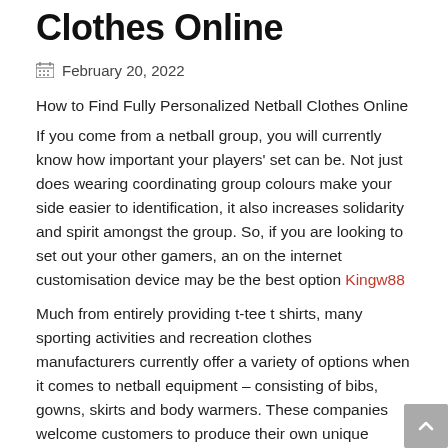Clothes Online
February 20, 2022
How to Find Fully Personalized Netball Clothes Online
If you come from a netball group, you will currently know how important your players' set can be. Not just does wearing coordinating group colours make your side easier to identification, it also increases solidarity and spirit amongst the group. So, if you are looking to set out your other gamers, an on the internet customisation device may be the best option Kingw88
Much from entirely providing t-tee t shirts, many sporting activities and recreation clothes manufacturers currently offer a variety of options when it comes to netball equipment – consisting of bibs, gowns, skirts and body warmers. These companies welcome customers to produce their own unique sportswear, usually